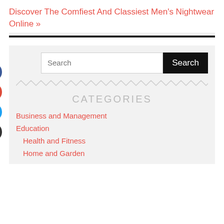Discover The Comfiest And Classiest Men's Nightwear Online »
CATEGORIES
Business and Management
Education
Health and Fitness
Home and Garden